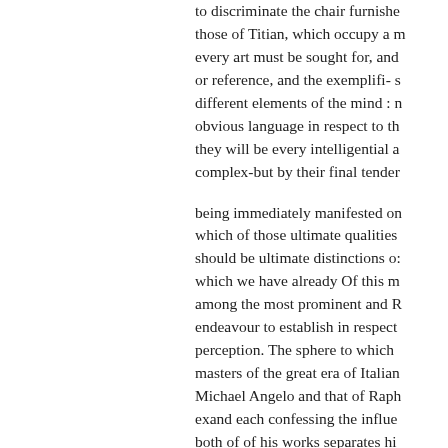to discriminate the chair furnishe those of Titian, which occupy a m every art must be sought for, and or reference, and the exemplifi- s different elements of the mind : n obvious language in respect to th they will be every intelligential a complex-but by their final tender being immediately manifested on which of those ultimate qualities should be ultimate distinctions o: which we have already Of this m among the most prominent and R endeavour to establish in respect perception. The sphere to which masters of the great era of Italian Michael Angelo and that of Raph exand each confessing the influe both of of his works separates hi department of art; with Venetian considered to be the great great m purpose in their exercise, the sch instance of the Roman and other adoptthe art itself.) there is nece